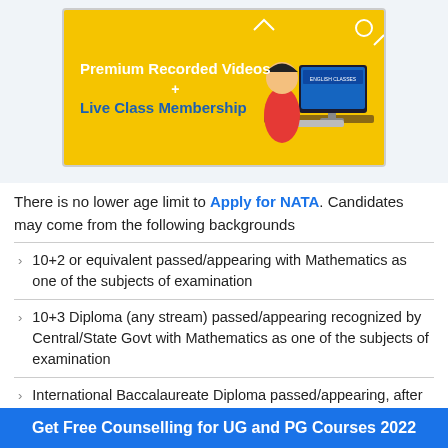[Figure (illustration): Promotional banner for English classes showing 'Premium Recorded Videos + Live Class Membership' text on yellow background with a cartoon student at a computer]
There is no lower age limit to Apply for NATA. Candidates may come from the following backgrounds
10+2 or equivalent passed/appearing with Mathematics as one of the subjects of examination
10+3 Diploma (any stream) passed/appearing recognized by Central/State Govt with Mathematics as one of the subjects of examination
International Baccalaureate Diploma passed/appearing, after 10 years of Schooling with Mathematics as a compulsory subject of examination.
The lower age limit for appearing in NATA has been waived.
Get Free Counselling for UG and PG Courses 2022